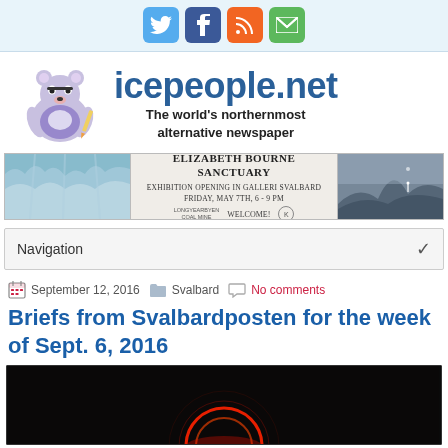[Figure (screenshot): Social media icon bar: Twitter (blue), Facebook (dark blue), RSS (orange), Email (green)]
[Figure (logo): icepeople.net logo with cartoon polar bear mascot and tagline: The world's northernmost alternative newspaper]
[Figure (illustration): Advertisement banner for Elizabeth Bourne Sanctuary exhibition opening in Galleri Svalbard, Friday May 7th 6-9pm, Welcome!]
Navigation
September 12, 2016   Svalbard   No comments
Briefs from Svalbardposten for the week of Sept. 6, 2016
[Figure (photo): Dark photograph with red glowing circular light element at bottom]